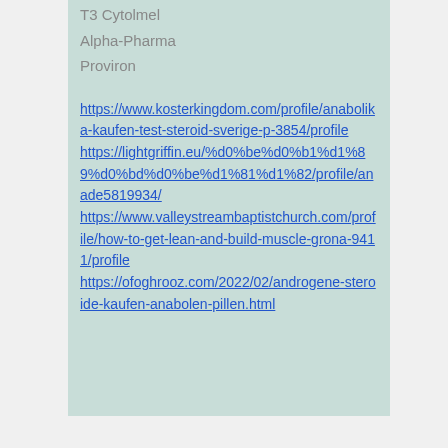T3 Cytolmel
Alpha-Pharma
Proviron
https://www.kosterkingdom.com/profile/anabolika-kaufen-test-steroid-sverige-p-3854/profile https://lightgriffin.eu/%d0%be%d0%b1%d1%89%d0%bd%d0%be%d1%81%d1%82/profile/anade5819934/ https://www.valleystreambaptistchurch.com/profile/how-to-get-lean-and-build-muscle-grona-9411/profile https://ofoghrooz.com/2022/02/androgene-steroide-kaufen-anabolen-pillen.html